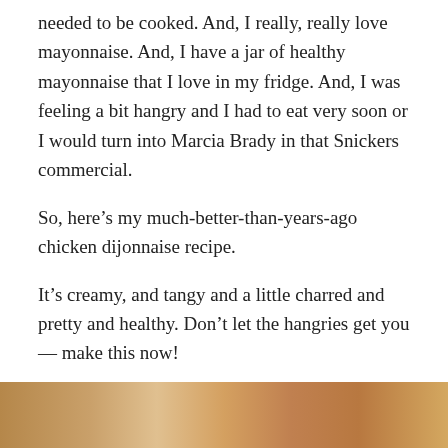needed to be cooked. And, I really, really love mayonnaise. And, I have a jar of healthy mayonnaise that I love in my fridge. And, I was feeling a bit hangry and I had to eat very soon or I would turn into Marcia Brady in that Snickers commercial.
So, here’s my much-better-than-years-ago chicken dijonnaise recipe.
It’s creamy, and tangy and a little charred and pretty and healthy. Don’t let the hangries get you — make this now!
If you’re in a spicy mood, here’s another of my favorite chicken thigh recipes.
[Figure (photo): Bottom strip showing a partial photo of a cooked chicken dish, warm golden-brown tones visible at the bottom of the page.]